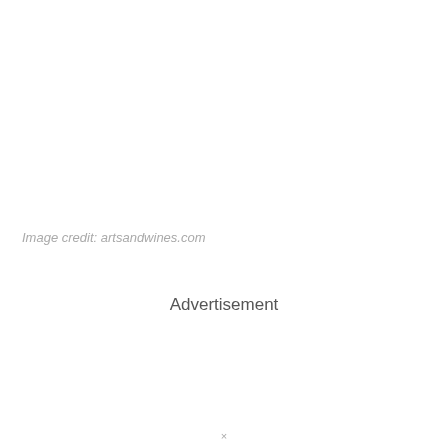Image credit: artsandwines.com
Advertisement
×